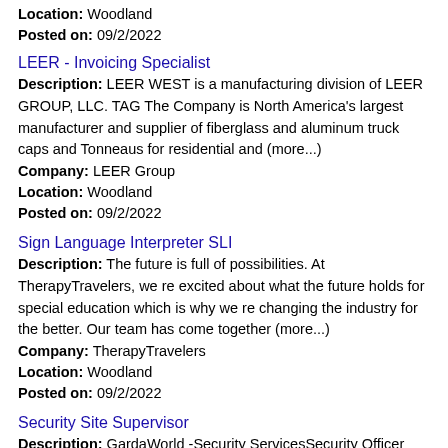Location: Woodland
Posted on: 09/2/2022
LEER - Invoicing Specialist
Description: LEER WEST is a manufacturing division of LEER GROUP, LLC. TAG The Company is North America's largest manufacturer and supplier of fiberglass and aluminum truck caps and Tonneaus for residential and (more...)
Company: LEER Group
Location: Woodland
Posted on: 09/2/2022
Sign Language Interpreter SLI
Description: The future is full of possibilities. At TherapyTravelers, we re excited about what the future holds for special education which is why we re changing the industry for the better. Our team has come together (more...)
Company: TherapyTravelers
Location: Woodland
Posted on: 09/2/2022
Security Site Supervisor
Description: GardaWorld -Security ServicesSecurity Officer
Company: Gardaworld Security Services U.s.